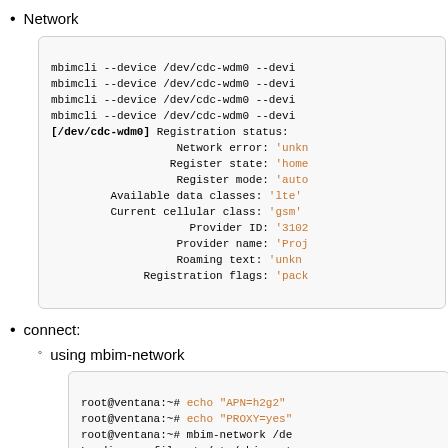Network
[Figure (screenshot): Code block showing mbimcli commands and registration status output with fields like Network error, Register state, Register mode, Available data classes, Current cellular class, Provider ID, Provider name, Roaming text, Registration flags]
connect:
using mbim-network
[Figure (screenshot): Code block showing root@ventana shell commands: echo APN=h2g2, echo PROXY=yes, mbim-network /de..., Loading profile at /etc/mbim-net..., APN: h2g2, APN auth protocol: unset, APN user: unset, APN password: unset, mbim-proxy: no, Querying subscriber ready status]